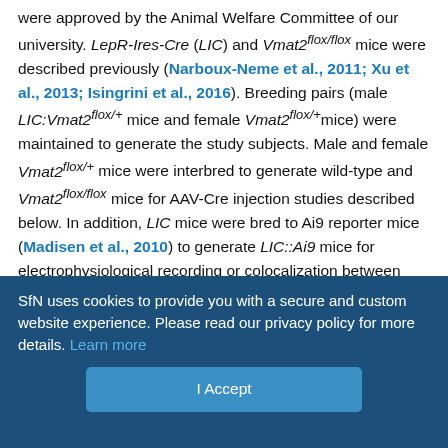were approved by the Animal Welfare Committee of our university. LepR-Ires-Cre (LIC) and Vmat2flox/flox mice were described previously (Narboux-Neme et al., 2011; Xu et al., 2013; Isingrini et al., 2016). Breeding pairs (male LIC:Vmat2flox/+ mice and female Vmat2flox/+mice) were maintained to generate the study subjects. Male and female Vmat2flox/+ mice were interbred to generate wild-type and Vmat2flox/flox mice for AAV-Cre injection studies described below. In addition, LIC mice were bred to Ai9 reporter mice (Madisen et al., 2010) to generate LIC::Ai9 mice for electrophysiological recording or colocalization between LepR expression and VMAT2 or tyrosine hydroxylase (TH). Vgat-Ires-Cre and Vglut2-Ires-Cre mice were described previously (Vong et al., 2011) and purchased from The Jackson Laboratory and were stereotaxically injected with the
SfN uses cookies to provide you with a secure and custom website experience. Please read our privacy policy for more details. Learn more